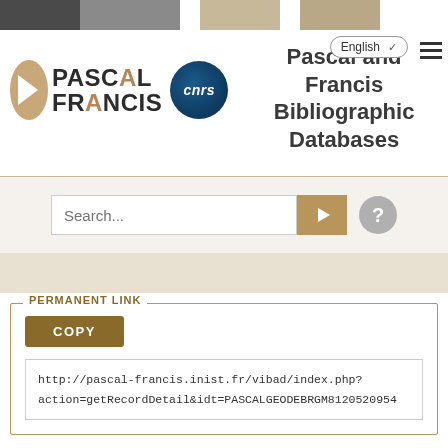[Figure (logo): Pascal Francis and CNRS logo with colored top bar]
Pascal and Francis Bibliographic Databases
Search...
PERMANENT LINK
COPY
http://pascal-francis.inist.fr/vibad/index.php?action=getRecordDetail&idt=PASCALGEODEBRGM8120520954